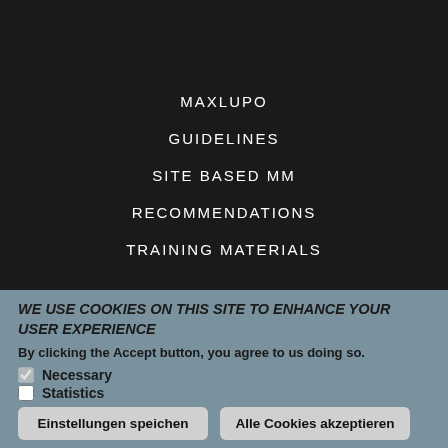MAXLUPO
GUIDELINES
SITE BASED MM
RECOMMENDATIONS
TRAINING MATERIALS
WE USE COOKIES ON THIS SITE TO ENHANCE YOUR USER EXPERIENCE
By clicking the Accept button, you agree to us doing so.
Necessary
Statistics
Einstellungen speichen
Alle Cookies akzeptieren